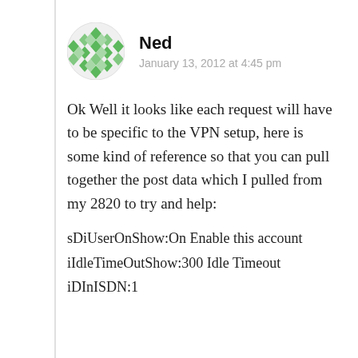[Figure (illustration): Green geometric avatar icon for user Ned]
Ned
January 13, 2012 at 4:45 pm
Ok Well it looks like each request will have to be specific to the VPN setup, here is some kind of reference so that you can pull together the post data which I pulled from my 2820 to try and help:
sDiUserOnShow:On Enable this account
iIdleTimeOutShow:300 Idle Timeout
iDInISDN:1